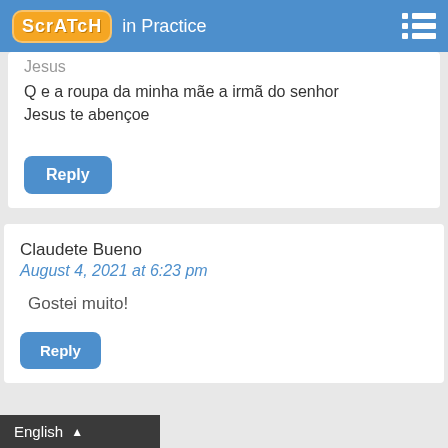Scratch in Practice
Jesus
Q e a roupa da minha mãe a irmã do senhor
Jesus te abençoe
Reply
Claudete Bueno
August 4, 2021 at 6:23 pm
Gostei muito!
Reply
English